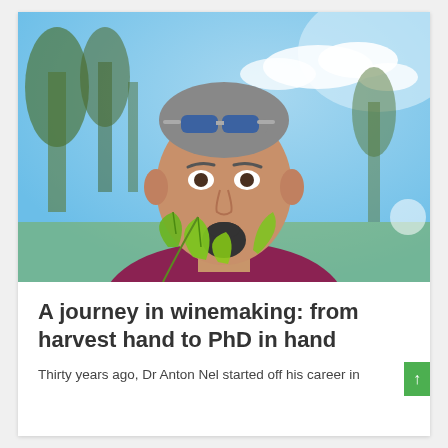[Figure (photo): Portrait photo of Dr Anton Nel, a middle-aged man with short grey hair, sunglasses resting on his head, a goatee beard, wearing a dark pink/maroon shirt. He is holding green vine leaves/shoots near his neck. Background shows blurred trees and a bright blue sky with white clouds.]
A journey in winemaking: from harvest hand to PhD in hand
Thirty years ago, Dr Anton Nel started off his career in